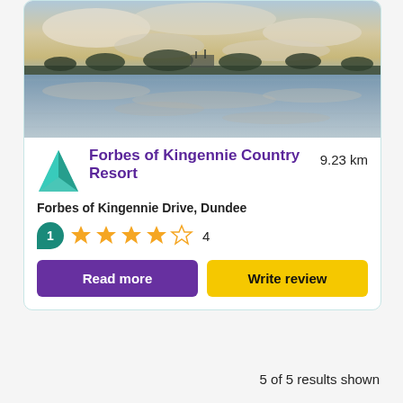[Figure (photo): Landscape photo of a body of water reflecting clouds and sky at dusk, with trees/structures silhouetted along the horizon. Appears to be a lake or river scene at Forbes of Kingennie Country Resort.]
Forbes of Kingennie Country Resort
9.23 km
Forbes of Kingennie Drive, Dundee
1  ★★★★☆  4
Read more
Write review
5 of 5 results shown